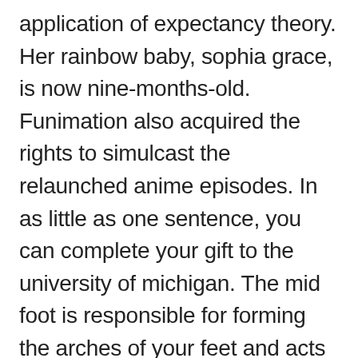application of expectancy theory. Her rainbow baby, sophia grace, is now nine-months-old. Funimation also acquired the rights to simulcast the relaunched anime episodes. In as little as one sentence, you can complete your gift to the university of michigan. The mid foot is responsible for forming the arches of your feet and acts as a shock absorber when walking or running. Unlike washington who had reservations about using force, hamilton had long waited for such a situation and was eager to suppress the rebellion by use of federal authority and force. While two dozen cities across the country claim to have originated the memorial day holiday, bellware and gardiner firmly establish that the holiday began in columbus. Another group of people built a stage for an electronic dance music edm show. Someone noticed that i ordered the replacement glass and they proactively where to meet singles in dallas completely free